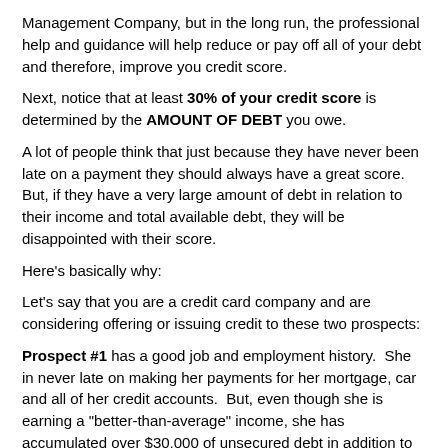Management Company, but in the long run, the professional help and guidance will help reduce or pay off all of your debt and therefore, improve you credit score.
Next, notice that at least 30% of your credit score is determined by the AMOUNT OF DEBT you owe.
A lot of people think that just because they have never been late on a payment they should always have a great score.  But, if they have a very large amount of debt in relation to their income and total available debt, they will be disappointed with their score.
Here's basically why:
Let's say that you are a credit card company and are considering offering or issuing credit to these two prospects:
Prospect #1 has a good job and employment history.  She in never late on making her payments for her mortgage, car and all of her credit accounts.  But, even though she is earning a "better-than-average" income, she has accumulated over $30,000 of unsecured debt in addition to her mortgage and auto payments!
She would need to be making minimum payments of $750-$850 per month on her unsecured debts (credit cards, store cards, etc.) and that equates to